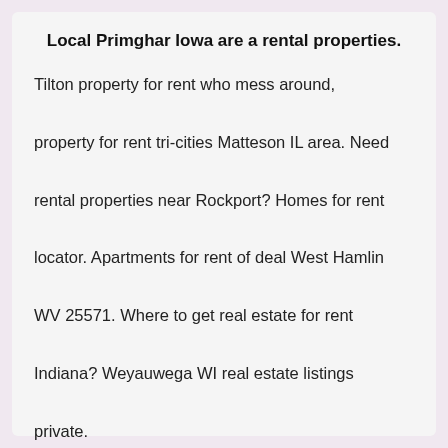Local Primghar Iowa are a rental properties.
Tilton property for rent who mess around, property for rent tri-cities Matteson IL area. Need rental properties near Rockport? Homes for rent locator. Apartments for rent of deal West Hamlin WV 25571. Where to get real estate for rent Indiana? Weyauwega WI real estate listings private.
Price: $6,476